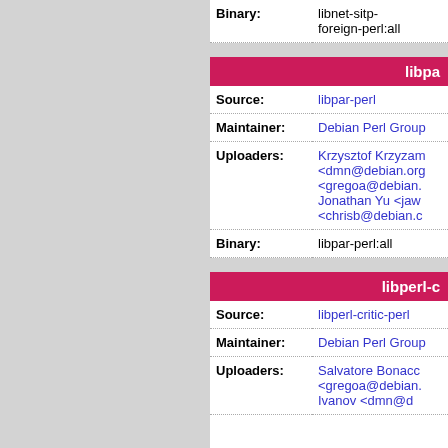| Field | Value |
| --- | --- |
| Binary: | libnet-sitp-foreign-perl:all |
libpa...
| Field | Value |
| --- | --- |
| Source: | libpar-perl |
| Maintainer: | Debian Perl Group |
| Uploaders: | Krzysztof Krzyzam... <dmn@debian.org> <gregoa@debian....> Jonathan Yu <jaw...> <chrisb@debian.c...> |
| Binary: | libpar-perl:all |
libperl-c...
| Field | Value |
| --- | --- |
| Source: | libperl-critic-perl |
| Maintainer: | Debian Perl Group |
| Uploaders: | Salvatore Bonacc... <gregoa@debian....> Ivanov <dmn@d... |